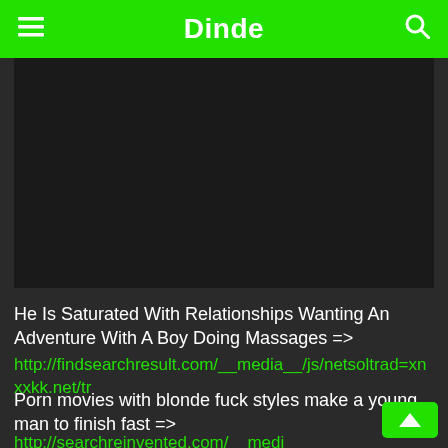Dinde
[Figure (screenshot): Dark video player area]
He Is Saturated With Relationships Wanting An Adventure With A Boy Doing Massages =>
http://findsearchresult.com/__media__/js/netsoltrad=xnxxkk.net/tr
Porn movies with blonde fuck styles make a young man to finish fast =>
http://searchreinvented.com/__media__/js/netsoltra d=xnxxkk.net/nl/video/284